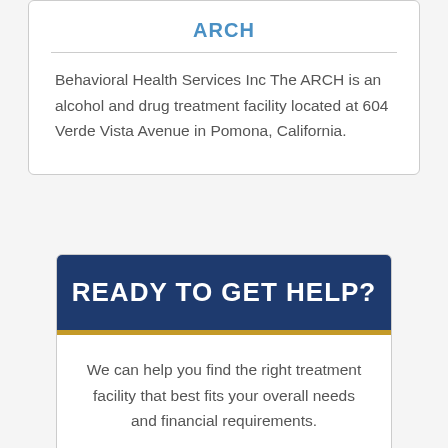ARCH
Behavioral Health Services Inc The ARCH is an alcohol and drug treatment facility located at 604 Verde Vista Avenue in Pomona, California.
READY TO GET HELP?
We can help you find the right treatment facility that best fits your overall needs and financial requirements.